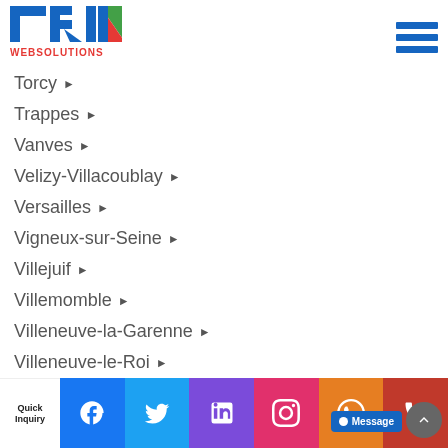[Figure (logo): TRIM WEBSOLUTIONS logo with colored letters and web solutions text]
Torcy ▶
Trappes ▶
Vanves ▶
Velizy-Villacoublay ▶
Versailles ▶
Vigneux-sur-Seine ▶
Villejuif ▶
Villemomble ▶
Villeneuve-la-Garenne ▶
Villeneuve-le-Roi ▶
Villeneuve-Saint-Georges ▶
Ville...
Quick Inquiry | Facebook | Twitter | LinkedIn | Instagram | WhatsApp | Phone | Message